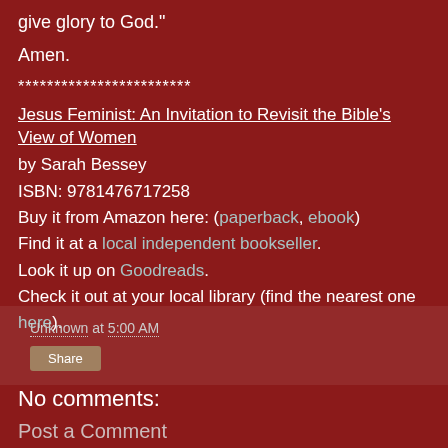give glory to God."
Amen.
************************
Jesus Feminist: An Invitation to Revisit the Bible's View of Women
by Sarah Bessey
ISBN: 9781476717258
Buy it from Amazon here: (paperback, ebook)
Find it at a local independent bookseller.
Look it up on Goodreads.
Check it out at your local library (find the nearest one here).
Unknown at 5:00 AM
Share
No comments:
Post a Comment